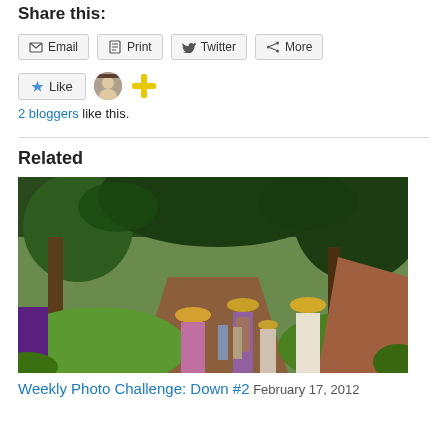Share this:
Email | Print | Twitter | More
[Figure (other): Like button row with avatar icons and yellow plus icon]
2 bloggers like this.
Related
[Figure (photo): Group of people walking on a dirt trail through a lush green forest]
Weekly Photo Challenge: Down #2
February 17, 2012